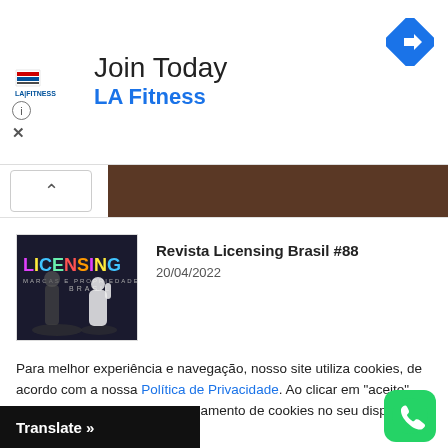[Figure (infographic): LA Fitness advertisement banner with logo, 'Join Today' heading, 'LA Fitness' subheading in blue, navigation arrow icon top right, info and close icons bottom left]
[Figure (photo): Dark brown/wood textured image strip behind a collapse button with upward arrow]
[Figure (photo): Magazine cover thumbnail: Revista Licensing Brasil #88 with colorful LICENSING text and a person silhouette]
Revista Licensing Brasil #88
20/04/2022
Para melhor experiência e navegação, nosso site utiliza cookies, de acordo com a nossa Política de Privacidade. Ao clicar em "aceito", você concorda com o armazenamento de cookies no seu dispositivo.
ACEITAR
[Figure (logo): WhatsApp icon — green rounded square with white phone handset]
Translate »